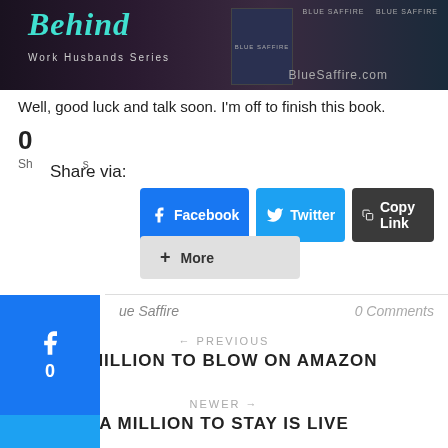[Figure (illustration): Banner image for Blue Saffire / Work Husbands Series book promotion. Dark background with teal script text reading 'Behind' and subtitle 'Work Husbands Series'. BlueSaffire.com shown at right. Book cover images on the right side.]
Well, good luck and talk soon. I'm off to finish this book.
0
Shares
Share via:
Facebook
Twitter
Copy Link
More
ue Saffire
0 Comments
← PREVIOUS
A MILLION TO BLOW ON AMAZON
NEWER →
A MILLION TO STAY IS LIVE